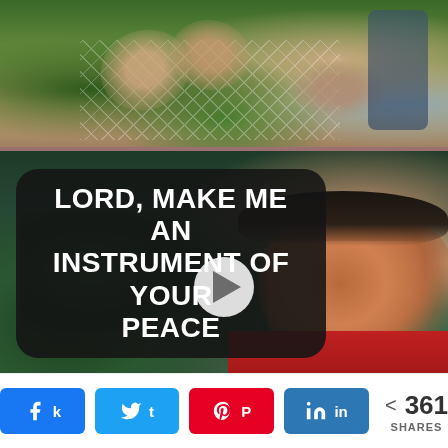[Figure (photo): Top photo: hands resting on a hammock net over green grass, lifestyle/relaxation scene]
[Figure (screenshot): Video thumbnail showing a young child in profile with eyes closed in prayer/contemplation, green foliage background, with text overlay reading 'LORD, MAKE ME AN INSTRUMENT OF YOUR PEACE' in white bold text on dark rounded-rectangle background, and a white play button in the center]
LORD, MAKE ME AN INSTRUMENT OF YOUR PEACE
k  t  P  in  < 361 SHARES